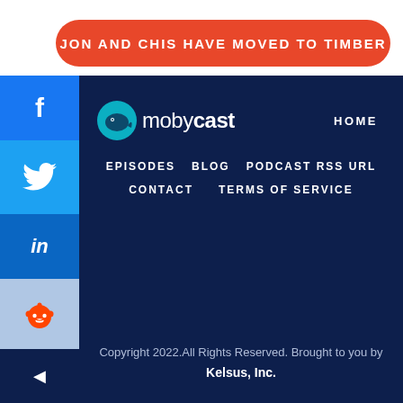JON AND CHIS HAVE MOVED TO TIMBER
[Figure (logo): Mobycast logo with whale icon and text 'mobycast' in white]
HOME
EPISODES
BLOG
PODCAST RSS URL
CONTACT
TERMS OF SERVICE
Copyright 2022.All Rights Reserved. Brought to you by Kelsus, Inc.